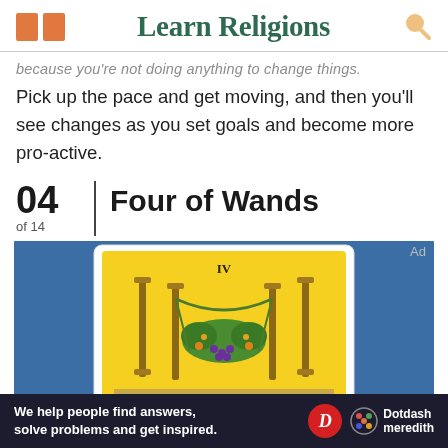Learn Religions
because you're not doing anything to change things. Pick up the pace and get moving, and then you'll see changes as you set goals and become more pro-active.
04 of 14 | Four of Wands
[Figure (photo): Tarot card 'Four of Wands' (IV) on a blue background. The card shows four wands/staffs with garlands draped between them, adorned with fruits and flowers on a yellow background.]
We help people find answers, solve problems and get inspired. Dotdash meredith